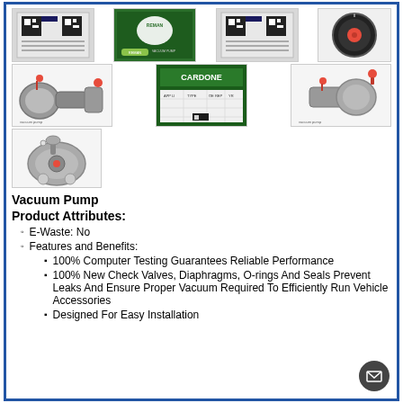[Figure (photo): Row of product images: vacuum pump parts, packaging boxes, a round disc component]
[Figure (photo): Row of product images: vacuum pump assemblies and a CARDONE packaging box with spec sheet]
[Figure (photo): Single vacuum pump component image]
Vacuum Pump
Product Attributes:
E-Waste: No
Features and Benefits:
100% Computer Testing Guarantees Reliable Performance
100% New Check Valves, Diaphragms, O-rings And Seals Prevent Leaks And Ensure Proper Vacuum Required To Efficiently Run Vehicle Accessories
Designed For Easy Installation